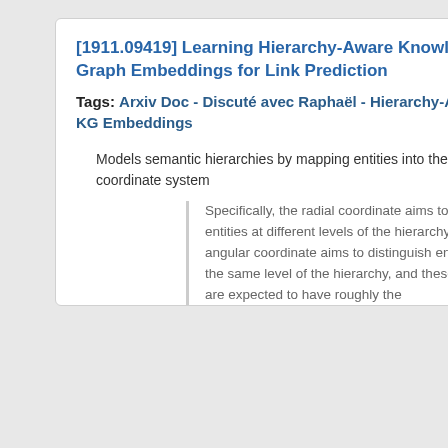[1911.09419] Learning Hierarchy-Aware Knowledge Graph Embeddings for Link Prediction
Tags: Arxiv Doc - Discuté avec Raphaël - Hierarchy-Aware KG Embeddings
Models semantic hierarchies by mapping entities into the polar coordinate system
Specifically, the radial coordinate aims to model entities at different levels of the hierarchy... the angular coordinate aims to distinguish entities at the same level of the hierarchy, and these entities are expected to have roughly the